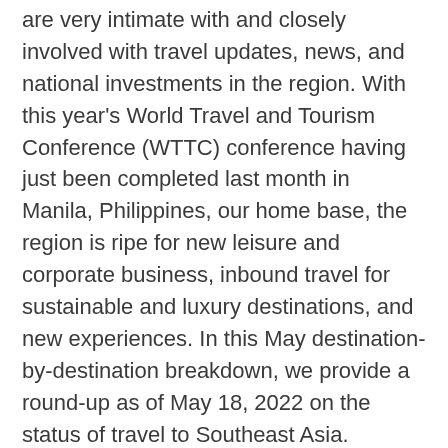are very intimate with and closely involved with travel updates, news, and national investments in the region. With this year's World Travel and Tourism Conference (WTTC) conference having just been completed last month in Manila, Philippines, our home base, the region is ripe for new leisure and corporate business, inbound travel for sustainable and luxury destinations, and new experiences. In this May destination-by-destination breakdown, we provide a round-up as of May 18, 2022 on the status of travel to Southeast Asia.
[Figure (photo): Aerial or elevated view of a lush green forested hillside or island with blue sky and distant mountains or sea in the background.]